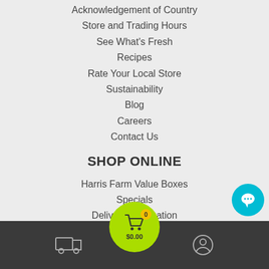Acknowledgement of Country
Store and Trading Hours
See What's Fresh
Recipes
Rate Your Local Store
Sustainability
Blog
Careers
Contact Us
SHOP ONLINE
Harris Farm Value Boxes
Specials
Delivery Information
Promotions
Liquor Licensing
Refunds & Returns Policy
Best Online Grocer
FAQ's
Terms & Conditions
Privacy Policy
[Figure (screenshot): Bottom navigation bar with delivery truck icon, cart button showing $0.00 with 0 items, and user account icon]